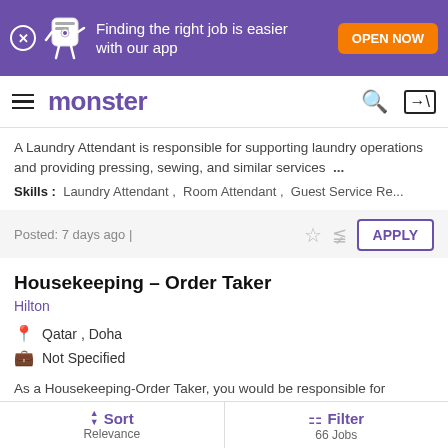[Figure (screenshot): Monster job search app promotional banner with purple background, mascot character, text 'Finding the right job is easier with our app', and orange 'OPEN NOW' button]
monster
A Laundry Attendant is responsible for supporting laundry operations and providing pressing, sewing, and similar services ...
Skills: Laundry Attendant, Room Attendant, Guest Service Re...
Posted: 7 days ago |
Housekeeping – Order Taker
Hilton
Qatar , Doha
Not Specified
As a Housekeeping-Order Taker, you would be responsible for answering all telephones, dispatches via 2-way communication ...
Sort Relevance | Filter 66 Jobs